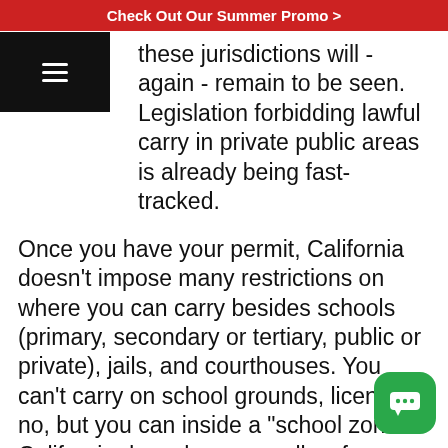Check Out Our Summer Promo >
these jurisdictions will - again - remain to be seen. Legislation forbidding lawful carry in private public areas is already being fast-tracked.
Once you have your permit, California doesn't impose many restrictions on where you can carry besides schools (primary, secondary or tertiary, public or private), jails, and courthouses. You can't carry on school grounds, license or no, but you can inside a "school zone". California does, however, allow for permit-less carry in your home, fixed place of business or campsite. California does not issue permits to non-residents, so there's no way around that.